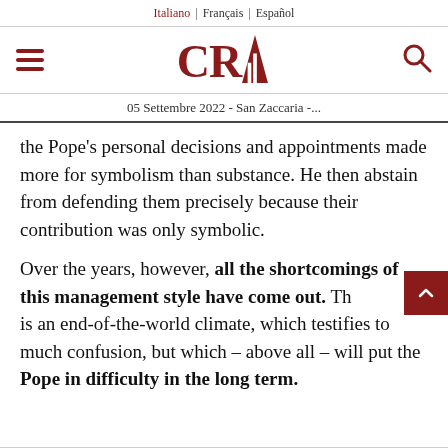Italiano | Français | Español
[Figure (logo): CRI logo with hamburger menu icon on left and search icon on right]
05 Settembre 2022 - San Zaccaria -...
the Pope's personal decisions and appointments made more for symbolism than substance. He then abstain from defending them precisely because their contribution was only symbolic.
Over the years, however, all the shortcomings of this management style have come out. There is an end-of-the-world climate, which testifies to much confusion, but which – above all – will put the Pope in difficulty in the long term.